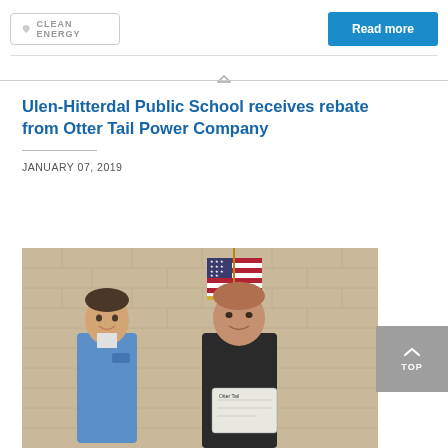[Figure (logo): Clean Energy badge/button with heart icon]
Read more
Ulen-Hitterdal Public School receives rebate from Otter Tail Power Company
JANUARY 07, 2019
[Figure (photo): Two men standing in front of an American flag against a brick wall, one holding a check, both smiling.]